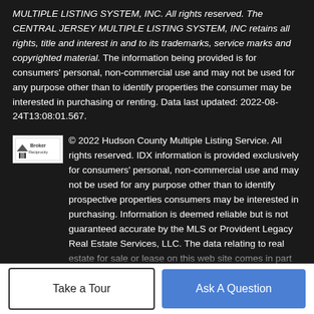MULTIPLE LISTING SYSTEM, INC. All rights reserved. The CENTRAL JERSEY MULTIPLE LISTING SYSTEM, INC retains all rights, title and interest in and to its trademarks, service marks and copyrighted material. The information being provided is for consumers' personal, non-commercial use and may not be used for any purpose other than to identify properties the consumer may be interested in purchasing or renting. Data last updated: 2022-08-24T13:08:01.567.
© 2022 Hudson County Multiple Listing Service. All rights reserved. IDX information is provided exclusively for consumers' personal, non-commercial use and may not be used for any purpose other than to identify prospective properties consumers may be interested in purchasing. Information is deemed reliable but is not guaranteed accurate by the MLS or Provident Legacy Real Estate Services, LLC. The data relating to real estate for sale or lease on this web site comes in part from HCMLS. Real estate listings held by brokerage firms other than
[Figure (logo): Broker Reciprocity logo — small house icon with text 'Broker Reciprocity']